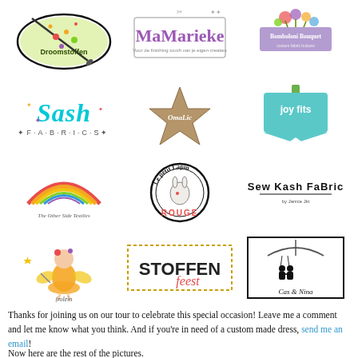[Figure (logo): Droomstoffen logo - oval shape with paintbrush and colorful design]
[Figure (logo): MaMarieke logo - rectangular bordered text logo with tagline]
[Figure (logo): Floral logo - decorative flowers and purple banner]
[Figure (logo): Sash Fabrics logo - colorful script lettering]
[Figure (logo): OmaLic logo - star shape with text]
[Figure (logo): joy fits logo - blue ribbon/tag shape]
[Figure (logo): The Other Side Textiles logo - rainbow arc with text]
[Figure (logo): Le Petit Lapin Rouge logo - circular logo with rabbit]
[Figure (logo): Sew Kash Fabric logo - bold text logo]
[Figure (logo): Frolein logo - illustrated girl character]
[Figure (logo): STOFFENfeest logo - dotted border text logo]
[Figure (logo): Cas & Nina logo - silhouette children on swing]
Thanks for joining us on our tour to celebrate this special occasion!  Leave me a comment and let me know what you think.  And if you're in need of a custom made dress, send me an email!
Now here are the rest of the pictures.